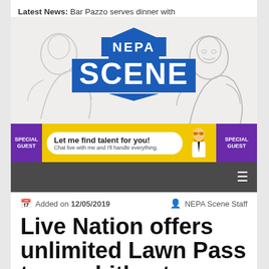Latest News: Bar Pazzo serves dinner with
[Figure (logo): NEPA Scene logo with blue chevron and NEPA SCENE text on illustrated background with two figures]
[Figure (infographic): Special Guest ad banner: Let me find talent for you! Chat live with me and I'll handle everything.]
[Figure (screenshot): Dark gray navigation bar with hamburger menu icon]
Added on 12/05/2019   NEPA Scene Staff
Live Nation offers unlimited Lawn Pass to amphitheaters like Montage